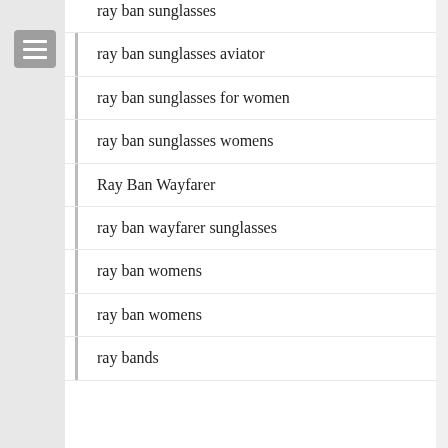ray ban sunglasses
ray ban sunglasses aviator
ray ban sunglasses for women
ray ban sunglasses womens
Ray Ban Wayfarer
ray ban wayfarer sunglasses
ray ban womens
ray ban womens
ray bands